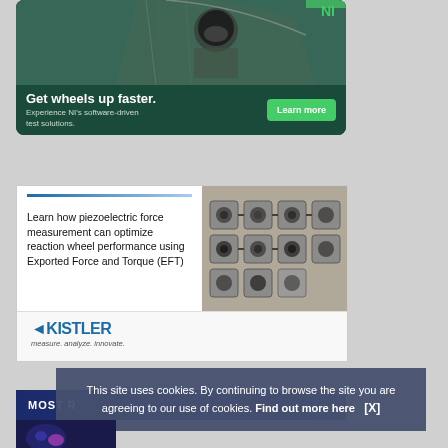[Figure (photo): NI advertisement showing fighter jet pilot in cockpit with 'Get wheels up faster. Experience NI's software-driven test solutions.' and a green 'Learn more' button on dark green background]
[Figure (photo): Kistler advertisement about piezoelectric force measurement for reaction wheel performance using Exported Force and Torque (EFT), showing mechanical components on right side, Kistler logo at bottom]
MOST R
This site uses cookies. By continuing to browse the site you are agreeing to our use of cookies. Find out more here   [X]